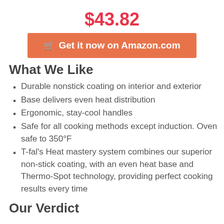$43.82
[Figure (other): Orange button: shopping cart icon followed by 'Get it now on Amazon.com']
What We Like
Durable nonstick coating on interior and exterior
Base delivers even heat distribution
Ergonomic, stay-cool handles
Safe for all cooking methods except induction. Oven safe to 350°F
T-fal's Heat mastery system combines our superior non-stick coating, with an even heat base and Thermo-Spot technology, providing perfect cooking results every time
Our Verdict